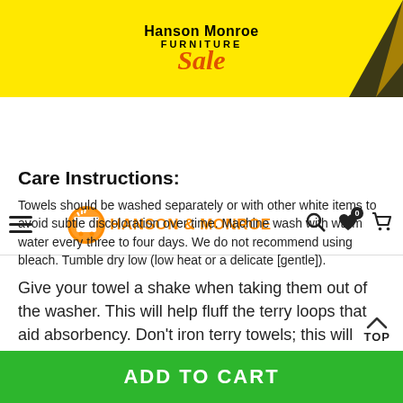[Figure (logo): Hanson Monroe Furniture Sale banner with yellow background and decorative arrow]
HANSON & MONROE
Care Instructions:
Towels should be washed separately or with other white items to avoid subtle discoloration over time. Machine wash with warm water every three to four days. We do not recommend using bleach. Tumble dry low (low heat or a delicate [gentle]).
Give your towel a shake when taking them out of the washer. This will help fluff the terry loops that aid absorbency. Don’t iron terry towels; this will reduce absorbency.
If you see any loosen thread on your towels after w